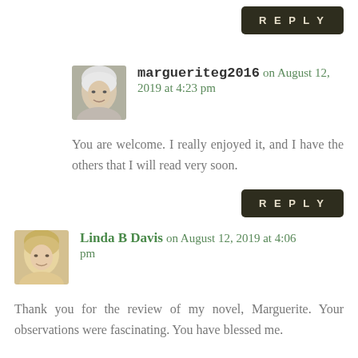[Figure (other): REPLY button, dark olive/brown background with light text]
[Figure (photo): Avatar photo of margueriteg2016, older woman with gray/white hair]
margueriteg2016 on August 12, 2019 at 4:23 pm
You are welcome. I really enjoyed it, and I have the others that I will read very soon.
[Figure (other): REPLY button, dark olive/brown background with light text]
[Figure (photo): Avatar photo of Linda B Davis, woman with blond/light hair]
Linda B Davis on August 12, 2019 at 4:06 pm
Thank you for the review of my novel, Marguerite. Your observations were fascinating. You have blessed me.